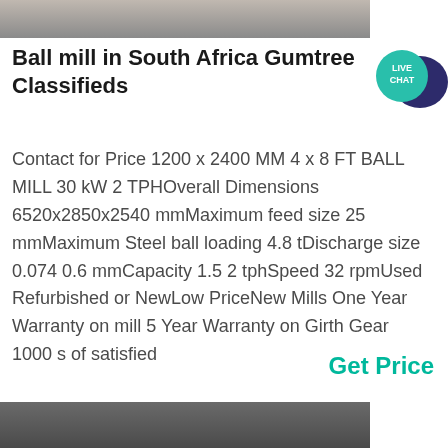[Figure (photo): Top portion of a photo showing a ball mill or industrial machinery site, cropped at top of page]
Ball mill in South Africa Gumtree Classifieds
[Figure (infographic): Live Chat speech bubble badge in teal and dark purple]
Contact for Price 1200 x 2400 MM 4 x 8 FT BALL MILL 30 kW 2 TPHOverall Dimensions 6520x2850x2540 mmMaximum feed size 25 mmMaximum Steel ball loading 4.8 tDischarge size 0.074 0.6 mmCapacity 1.5 2 tphSpeed 32 rpmUsed Refurbished or NewLow PriceNew Mills One Year Warranty on mill 5 Year Warranty on Girth Gear 1000 s of satisfied
Get Price
[Figure (photo): Bottom portion of a photo showing industrial machinery, partially visible at bottom of page]